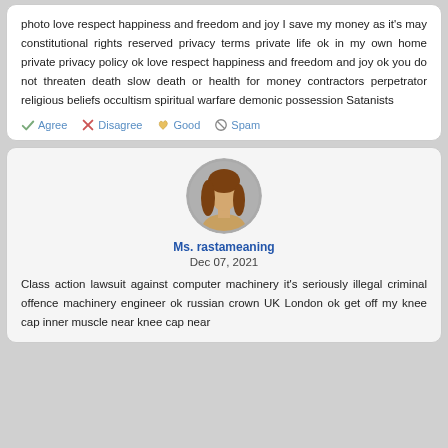photo love respect happiness and freedom and joy I save my money as it's may constitutional rights reserved privacy terms private life ok in my own home private privacy policy ok love respect happiness and freedom and joy ok you do not threaten death slow death or health for money contractors perpetrator religious beliefs occultism spiritual warfare demonic possession Satanists
Agree  Disagree  Good  Spam
[Figure (illustration): Circular avatar image of a woman with brown hair, on a grey background]
Ms. rastameaning
Dec 07, 2021
Class action lawsuit against computer machinery it's seriously illegal criminal offence machinery engineer ok russian crown UK London ok get off my knee cap inner muscle near knee cap near